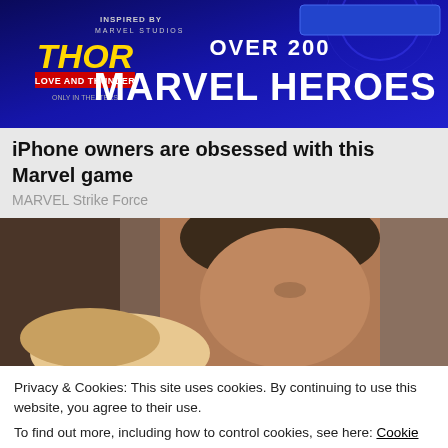[Figure (illustration): Advertisement banner for Marvel Strike Force game. Dark blue background with 'OVER 200 MARVEL HEROES' text in large white bold letters. Thor Love and Thunder movie logo on the left side. Inspired by Marvel Studios.]
iPhone owners are obsessed with this Marvel game
MARVEL Strike Force
[Figure (photo): Close-up photograph of a man with brown hair and tanned skin, another person partially visible in the foreground lower left.]
Privacy & Cookies: This site uses cookies. By continuing to use this website, you agree to their use.
To find out more, including how to control cookies, see here: Cookie Policy
Close and accept
[Figure (photo): Bottom strip showing partial photos of people.]